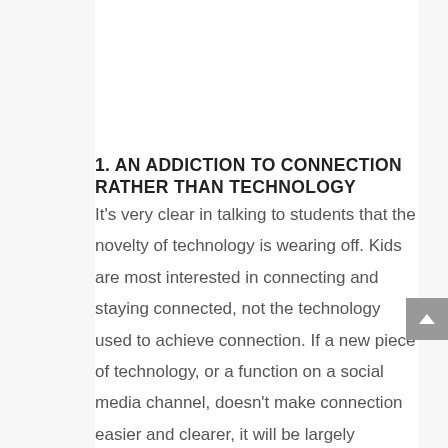1. AN ADDICTION TO CONNECTION RATHER THAN TECHNOLOGY
It's very clear in talking to students that the novelty of technology is wearing off. Kids are most interested in connecting and staying connected, not the technology used to achieve connection. If a new piece of technology, or a function on a social media channel, doesn't make connection easier and clearer, it will be largely shunned. Kids choose whichever